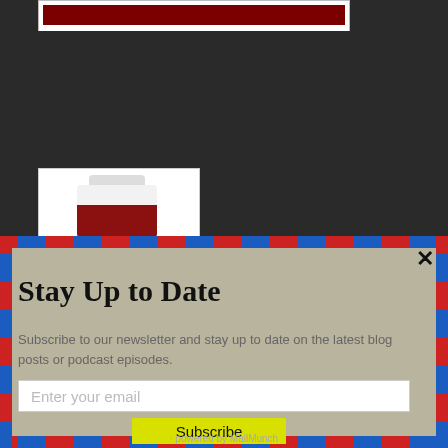[Figure (screenshot): Dark background webpage with a white card showing a dark red/maroon button bar at top, and a partial product image (white bottle with dark red label) visible below]
[Figure (screenshot): Newsletter subscription modal popup with airmail diagonal stripe border on beige/tan background. Contains title 'Stay Up to Date', descriptive text, email input field, and yellow Subscribe button. Close X button in top right. Powered by MailMunch at bottom.]
Stay Up to Date
Subscribe to our newsletter and stay up to date on the latest blog posts or podcast episodes.
Enter your email
Subscribe
powered by MailMunch